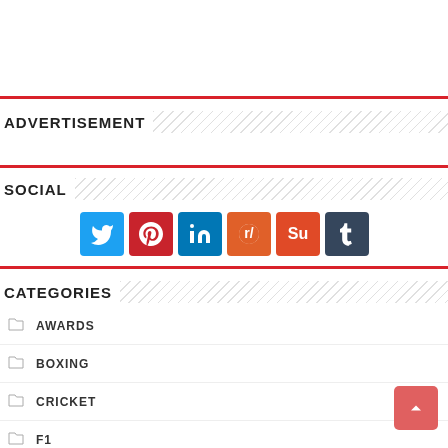ADVERTISEMENT
SOCIAL
[Figure (infographic): Social media icons: Twitter, Pinterest, LinkedIn, Reddit, StumbleUpon, Tumblr]
CATEGORIES
AWARDS
BOXING
CRICKET
F1